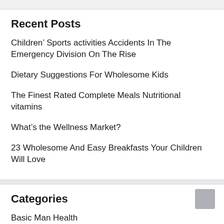Recent Posts
Children’ Sports activities Accidents In The Emergency Division On The Rise
Dietary Suggestions For Wholesome Kids
The Finest Rated Complete Meals Nutritional vitamins
What’s the Wellness Market?
23 Wholesome And Easy Breakfasts Your Children Will Love
Categories
Basic Man Health
Fitness